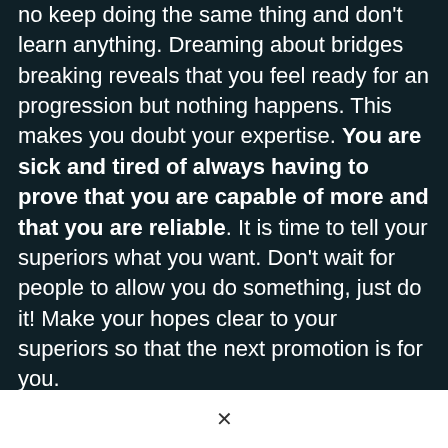no keep doing the same thing and don't learn anything. Dreaming about bridges breaking reveals that you feel ready for an progression but nothing happens. This makes you doubt your expertise. You are sick and tired of always having to prove that you are capable of more and that you are reliable. It is time to tell your superiors what you want. Don't wait for people to allow you do something, just do it! Make your hopes clear to your superiors so that the next promotion is for you.